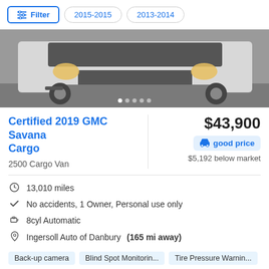Filter  2015-2015  2013-2014
[Figure (photo): Front view of a white GMC Savana cargo van parked in a lot, with 5 image carousel dots visible at the bottom.]
Certified 2019 GMC Savana Cargo
2500 Cargo Van
$43,900
good price
$5,192 below market
13,010 miles
No accidents, 1 Owner, Personal use only
8cyl Automatic
Ingersoll Auto of Danbury (165 mi away)
Back-up camera  Blind Spot Monitorin...  Tire Pressure Warnin...  Parking sensors  Upgraded Engine  +more